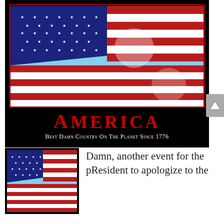[Figure (photo): American flag waving against blue sky, displayed in a poster with black background and dark red border, with large red 'AMERICA' text and subtitle 'Best Damn Country On The Planet Since 1776']
America
Best Damn Country On The Planet Since 1776
[Figure (photo): Thumbnail of the same American flag photo]
Damn, another event for the pResident to apologize to the